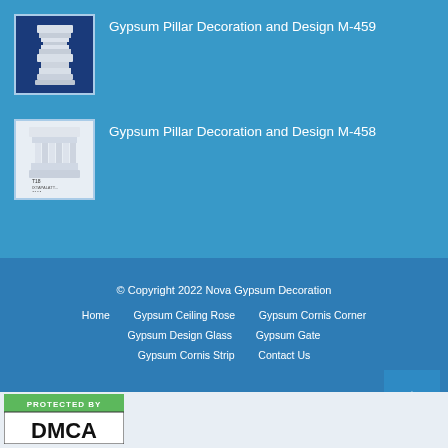[Figure (photo): Gypsum pillar decoration product image M-459, white architectural piece on dark blue background]
Gypsum Pillar Decoration and Design M-459
[Figure (photo): Gypsum pillar decoration product image M-458, white capital/bracket piece on light background with text labels T18, T16A]
Gypsum Pillar Decoration and Design M-458
© Copyright 2022 Nova Gypsum Decoration
Home
Gypsum Ceiling Rose
Gypsum Cornis Corner
Gypsum Design Glass
Gypsum Gate
Gypsum Cornis Strip
Contact Us
[Figure (logo): DMCA Protected badge - green and black logo with text PROTECTED BY DMCA]